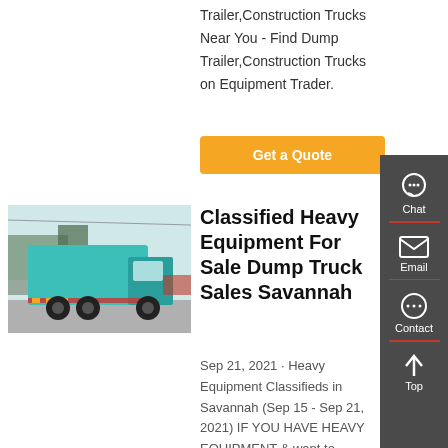Trailer,Construction Trucks Near You - Find Dump Trailer,Construction Trucks on Equipment Trader.
Get a Quote
[Figure (photo): A teal/green dump truck photographed from the rear-left side in a parking area with trees and other vehicles in the background.]
Classified Heavy Equipment For Sale Dump Truck Sales Savannah
Sep 21, 2021 · Heavy Equipment Classifieds in Savannah (Sep 15 - Sep 21, 2021) IF YOU HAVE HEAVY EQUIPMENT & want to